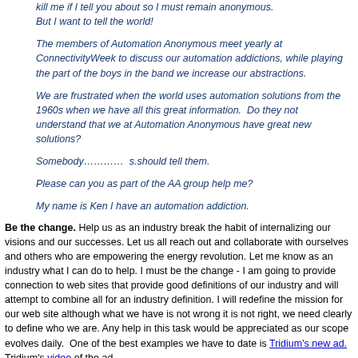kill me if I tell you about so I must remain anonymous. But I want to tell the world!
The members of Automation Anonymous meet yearly at ConnectivityWeek to discuss our automation addictions, while playing the part of the boys in the band we increase our abstractions.
We are frustrated when the world uses automation solutions from the 1960s when we have all this great information. Do they not understand that we at Automation Anonymous have great new solutions?
Somebody………… s.should tell them.
Please can you as part of the AA group help me?
My name is Ken I have an automation addiction.
Be the change. Help us as an industry break the habit of internalizing our visions and our successes. Let us all reach out and collaborate with ourselves and others who are empowering the energy revolution. Let me know as an industry what I can do to help. I must be the change - I am going to provide connection to web sites that provide good definitions of our industry and will attempt to combine all for an industry definition. I will redefine the mission for our web site although what we have is not wrong it is not right, we need clearly to define who we are. Any help in this task would be appreciated as our scope evolves daily. One of the best examples we have to date is Tridium's new ad. Tridium's video of the ad.